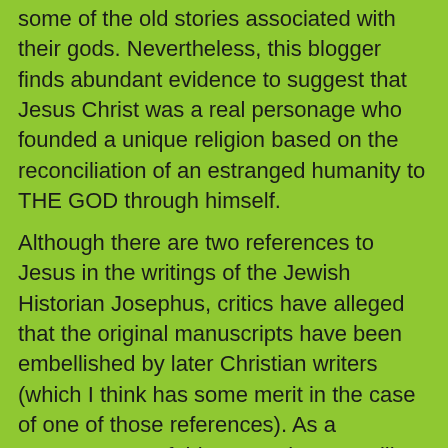some of the old stories associated with their gods. Nevertheless, this blogger finds abundant evidence to suggest that Jesus Christ was a real personage who founded a unique religion based on the reconciliation of an estranged humanity to THE GOD through himself.
Although there are two references to Jesus in the writings of the Jewish Historian Josephus, critics have alleged that the original manuscripts have been embellished by later Christian writers (which I think has some merit in the case of one of those references). As a consequence of this tampering, we will ignore these specific references as direct evidence of Christ's existence. Nevertheless, Josephus and other period historians do corroborate key elements of the New Testament story. For instance, no one disputes the existence of the Jews, Romans, Herod, his family, Pilate, Pharisees, Sadducees, Samaritans, Judea, Bethlehem, Jerusalem, Galilee, Nazareth, synagogues, Temple, etc. In similar fashion, no one disputes that scrolls of the Torah were kept in synagogues (and that they were read on the Sabbath), the Romans commonly employed crucifixion as a means of capital punishment, the Jews commonly used